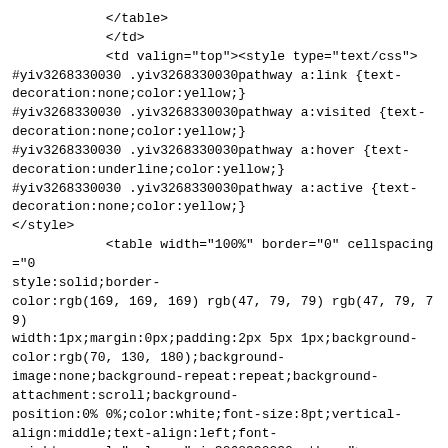</table>
            </td>
            <td valign="top"><style type="text/css">
#yiv3268330030 .yiv3268330030pathway a:link {text-decoration:none;color:yellow;}
#yiv3268330030 .yiv3268330030pathway a:visited {text-decoration:none;color:yellow;}
#yiv3268330030 .yiv3268330030pathway a:hover {text-decoration:underline;color:yellow;}
#yiv3268330030 .yiv3268330030pathway a:active {text-decoration:none;color:yellow;}
</style>
            <table width="100%" border="0" cellspacing="0
style:solid;border-color:rgb(169, 169, 169) rgb(47, 79, 79) rgb(47, 79, 79)
width:1px;margin:0px;padding:2px 5px 1px;background-color:rgb(70, 130, 180);background-image:none;background-repeat:repeat;background-attachment:scroll;background-position:0% 0%;color:white;font-size:8pt;vertical-align:middle;text-align:left;font-weight:normal;" class="yiv3268330030pathway">
                <tbody>
                    <tr>
                        <td>Apartado 3050 - 08200 Sabade
(+34) <b>902 945 699</b></a></td>
                    </tr>
                </tbody>
            </table>
            </td>